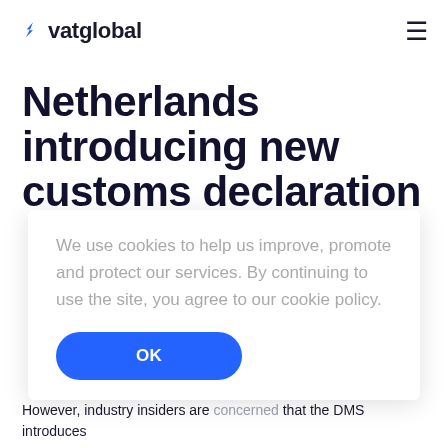vatglobal
Netherlands introducing new customs declaration
We use cookies to help us improve, promote and protect our services. By continuing to use the site, you agree to our cookie policy.
OK
GET A QUOTE
However, industry insiders are concerned that the DMS introduces